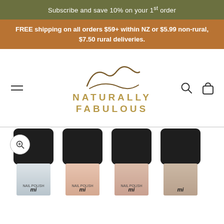Subscribe and save 10% on your 1st order
FREE shipping on all orders $59+ within NZ or $5.99 non-rural, $7.50 rural deliveries.
[Figure (logo): Naturally Fabulous brand logo with stylized mountain/wave line drawing above gold text reading NATURALLY FABULOUS]
[Figure (photo): Four nail polish bottles with black caps lined up in a row, showing clear, blush, nude, and taupe shades, with 'mi' label text visible on each bottle]